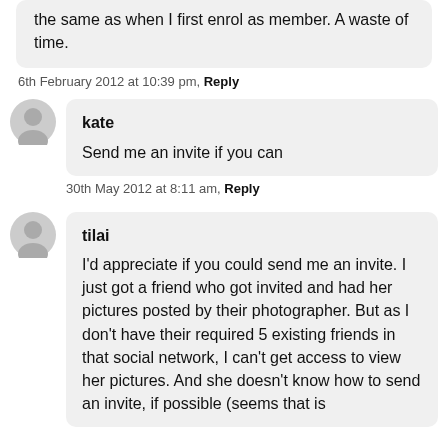the same as when I first enrol as member. A waste of time.
6th February 2012 at 10:39 pm, Reply
kate
Send me an invite if you can
30th May 2012 at 8:11 am, Reply
tilai
I'd appreciate if you could send me an invite. I just got a friend who got invited and had her pictures posted by their photographer. But as I don't have their required 5 existing friends in that social network, I can't get access to view her pictures. And she doesn't know how to send an invite, if possible (seems that is